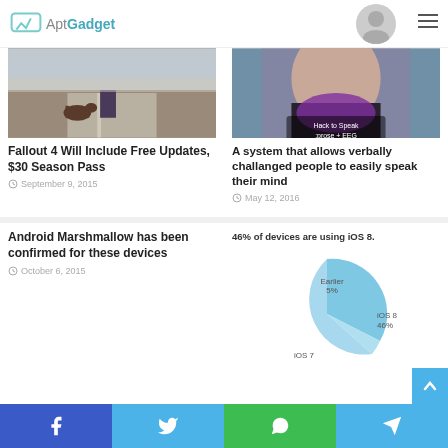AptGadget
[Figure (photo): Fallout 4 game screenshot showing a character from behind walking on a road with a dog]
Fallout 4 Will Include Free Updates, $30 Season Pass
September 9, 2015
[Figure (photo): Close-up of a person wearing a black jacket with text overlay reading ':prose + EEG']
A system that allows verbally challanged people to easily speak their mind
May 12, 2016
Android Marshmallow has been confirmed for these devices
October 6, 2015
[Figure (pie-chart): 46% of devices are using iOS 8.]